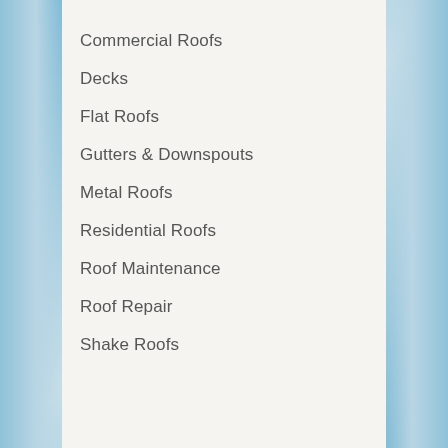Commercial Roofs
Decks
Flat Roofs
Gutters & Downspouts
Metal Roofs
Residential Roofs
Roof Maintenance
Roof Repair
Shake Roofs